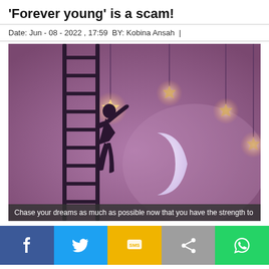'Forever young' is a scam!
Date: Jun - 08 - 2022 , 17:59  BY: Kobina Ansah
[Figure (illustration): Illustration of a silhouette of a person climbing a ladder reaching toward hanging stars, with a crescent moon, on a purple/pink background]
Chase your dreams as much as possible now that you have the strength to
[Figure (infographic): Social media sharing buttons: Facebook, Twitter, SMS, Share, WhatsApp]